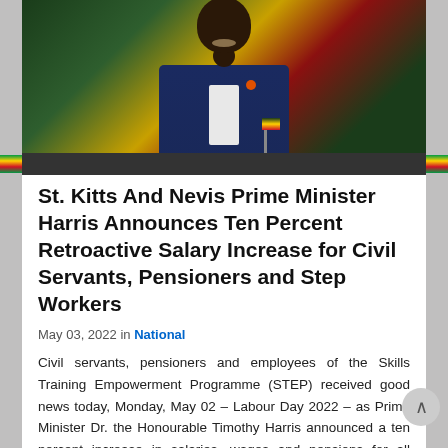[Figure (photo): Photo of St. Kitts and Nevis Prime Minister Timothy Harris seated at a desk, wearing a dark suit with an orange boutonniere, with a national flag in the background.]
St. Kitts And Nevis Prime Minister Harris Announces Ten Percent Retroactive Salary Increase for Civil Servants, Pensioners and Step Workers
May 03, 2022 in National
Civil servants, pensioners and employees of the Skills Training Empowerment Programme (STEP) received good news today, Monday, May 02 – Labour Day 2022 – as Prime Minister Dr. the Honourable Timothy Harris announced a ten percent increase in salaries, wages and pensions for all three...